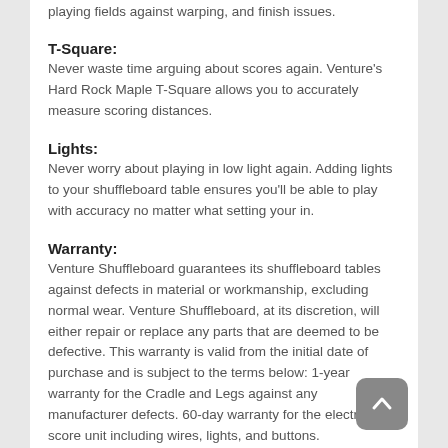playing fields against warping, and finish issues.
T-Square:
Never waste time arguing about scores again. Venture's Hard Rock Maple T-Square allows you to accurately measure scoring distances.
Lights:
Never worry about playing in low light again. Adding lights to your shuffleboard table ensures you'll be able to play with accuracy no matter what setting your in.
Warranty:
Venture Shuffleboard guarantees its shuffleboard tables against defects in material or workmanship, excluding normal wear. Venture Shuffleboard, at its discretion, will either repair or replace any parts that are deemed to be defective. This warranty is valid from the initial date of purchase and is subject to the terms below: 1-year warranty for the Cradle and Legs against any manufacturer defects. 60-day warranty for the electronic score unit including wires, lights, and buttons.